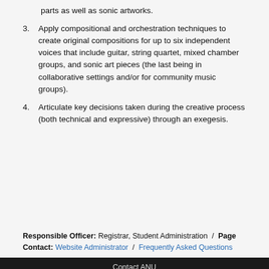parts as well as sonic artworks.
3. Apply compositional and orchestration techniques to create original compositions for up to six independent voices that include guitar, string quartet, mixed chamber groups, and sonic art pieces (the last being in collaborative settings and/or for community music groups).
4. Articulate key decisions taken during the creative process (both technical and expressive) through an exegesis.
Responsible Officer: Registrar, Student Administration / Page Contact: Website Administrator / Frequently Asked Questions
Contact ANU